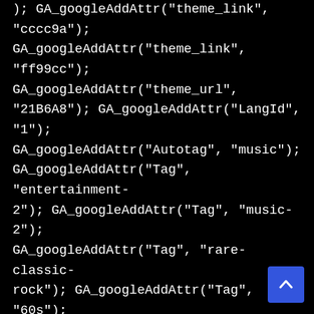); GA_googleAddAttr("theme_link", "cccc9a"); GA_googleAddAttr("theme_link", "ff99cc"); GA_googleAddAttr("theme_url", "21B6A8"); GA_googleAddAttr("LangId", "1"); GA_googleAddAttr("Autotag", "music"); GA_googleAddAttr("Tag", "entertainment-2"); GA_googleAddAttr("Tag", "music-2"); GA_googleAddAttr("Tag", "rare-classic-rock"); GA_googleAddAttr("Tag", "60s"); GA_googleAddAttr("Tag", "70s"); GA_googleAddAttr("Tag", "classic-rock"); GA_googleAddAttr("Tag", "commentary"); GA_googleAddAttr("Tag", "entertainment"); GA_googleAddAttr("Tag", "garage-rock"); GA_googleAddAttr("Tag", "music"); GA_googleAddAttr("Tag", "rare");